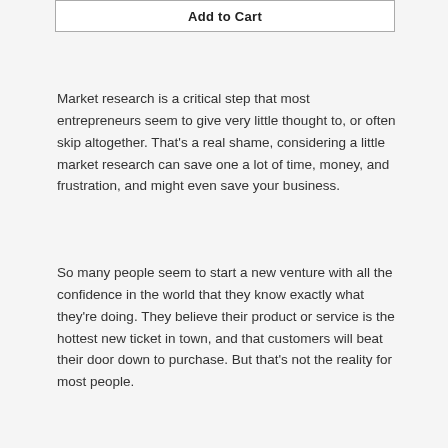[Figure (other): Add to Cart button — white rectangle with bold text 'Add to Cart' and a border]
Market research is a critical step that most entrepreneurs seem to give very little thought to, or often skip altogether. That's a real shame, considering a little market research can save one a lot of time, money, and frustration, and might even save your business.
So many people seem to start a new venture with all the confidence in the world that they know exactly what they're doing. They believe their product or service is the hottest new ticket in town, and that customers will beat their door down to purchase. But that's not the reality for most people.